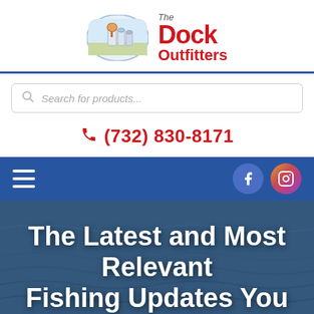[Figure (logo): The Dock Outfitters logo with oval image of industrial/storage facility on left, and red bold text 'The Dock Outfitters' on right]
Search for products...
(732) 830-8171
[Figure (screenshot): Dark blue navigation bar with hamburger menu icon on left, Facebook and Instagram circle icons on right]
The Latest and Most Relevant Fishing Updates You